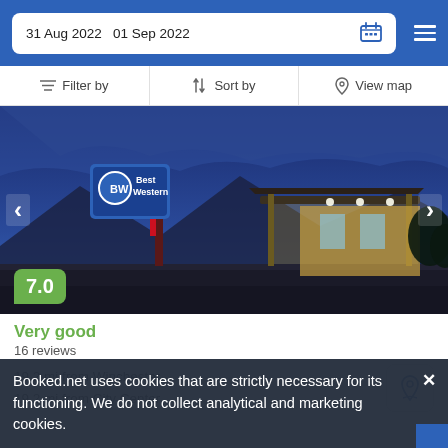31 Aug 2022   01 Sep 2022
[Figure (screenshot): Hotel exterior photo at dusk showing Best Western signage and canopy entrance with blue sky]
7.0
Very good
16 reviews
19.2 mi from Winchester
19.2 mi from City Center
Booked.net uses cookies that are strictly necessary for its functioning. We do not collect analytical and marketing cookies.